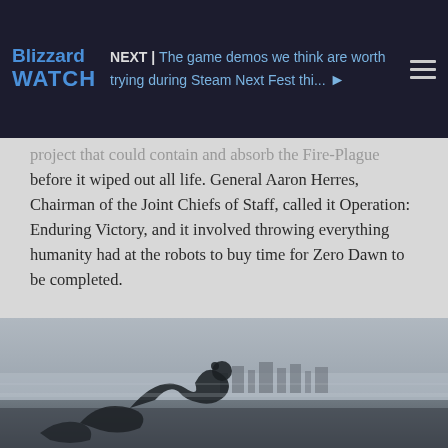Blizzard WATCH | NEXT | The game demos we think are worth trying during Steam Next Fest thi...
project that could contain and absorb the Fire-Plague before it wiped out all life. General Aaron Herres, Chairman of the Joint Chiefs of Staff, called it Operation: Enduring Victory, and it involved throwing everything humanity had at the robots to buy time for Zero Dawn to be completed.
Sobeck knew there was no way to defeat the robots. Faro knew there was no way to defeat the robots. Herres knew there was no way to defeat the robots. There was no hope for the people of today... but there might be hope for people of the future. And Sobeck's plan was the only way humanity might survive extinction.
[Figure (illustration): A dark, moody illustration of a serpentine robot creature in a misty, grey landscape with a cityscape visible in the background.]